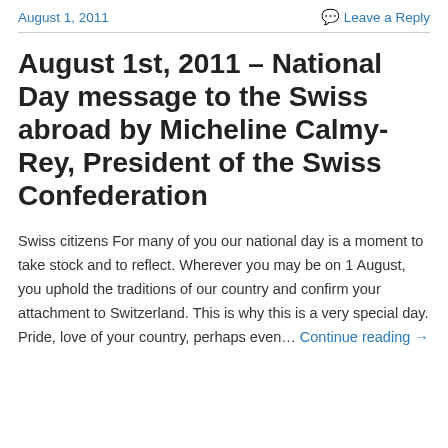August 1, 2011    Leave a Reply
August 1st, 2011 – National Day message to the Swiss abroad by Micheline Calmy-Rey, President of the Swiss Confederation
Swiss citizens For many of you our national day is a moment to take stock and to reflect. Wherever you may be on 1 August, you uphold the traditions of our country and confirm your attachment to Switzerland. This is why this is a very special day. Pride, love of your country, perhaps even… Continue reading →